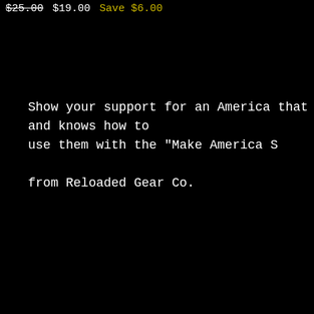$25.00 $19.00 Save $6.00
Show your support for an America that has guns and knows how to use them with the "Make America S from Reloaded Gear Co.
Sort